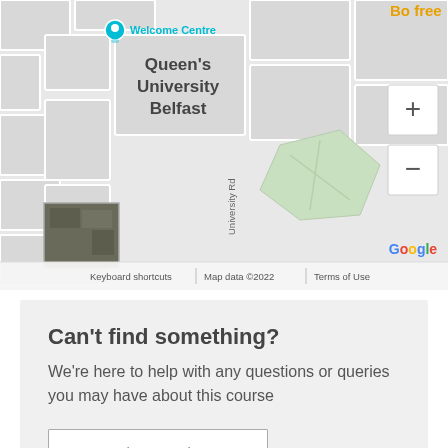[Figure (map): Google Maps screenshot showing Queen's University Belfast area, with Welcome Centre marker, University Rd label, zoom controls (+/-), satellite thumbnail, and footer text: Keyboard shortcuts | Map data ©2022 | Terms of Use. Orange 'Be free' text partially visible top right.]
Can't find something?
We're here to help with any questions or queries you may have about this course
Ask a question